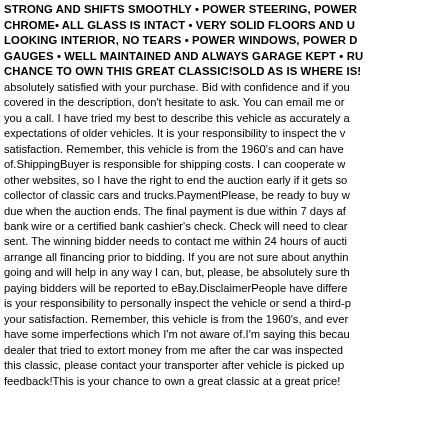THE TRANSMISSION IS STRONG AND SHIFTS SMOOTHLY • POWER STEERING, POWER CHROME• ALL GLASS IS INTACT • VERY SOLID FLOORS AND UNDER LOOKING INTERIOR, NO TEARS • POWER WINDOWS, POWER D GAUGES • WELL MAINTAINED AND ALWAYS GARAGE KEPT • RU CHANCE TO OWN THIS GREAT CLASSIC!SOLD AS IS WHERE IS! absolutely satisfied with your purchase. Bid with confidence and if you covered in the description, don't hesitate to ask. You can email me or you a call. I have tried my best to describe this vehicle as accurately a expectations of older vehicles. It is your responsibility to inspect the v satisfaction. Remember, this vehicle is from the 1960's and can have of.ShippingBuyer is responsible for shipping costs. I can cooperate w other websites, so I have the right to end the auction early if it gets so collector of classic cars and trucks.PaymentPlease, be ready to buy w due when the auction ends. The final payment is due within 7 days af bank wire or a certified bank cashier's check. Check will need to clear sent. The winning bidder needs to contact me within 24 hours of aucti arrange all financing prior to bidding. If you are not sure about anythin going and will help in any way I can, but, please, be absolutely sure th paying bidders will be reported to eBay.DisclaimerPeople have differe is your responsibility to personally inspect the vehicle or send a third-p your satisfaction. Remember, this vehicle is from the 1960's, and ever have some imperfections which I'm not aware of.I'm saying this becau dealer that tried to extort money from me after the car was inspected this classic, please contact your transporter after vehicle is picked up feedback!This is your chance to own a great classic at a great price!